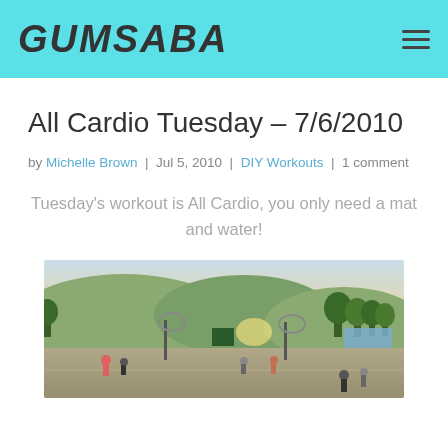GUMSABA
All Cardio Tuesday – 7/6/2010
by Michelle Brown | Jul 5, 2010 | DIY Workouts | 1 comment
Tuesday's workout is All Cardio, you only need a mat and water!
[Figure (photo): Outdoor basketball court with people exercising, hills and trees in background, sunset lighting]